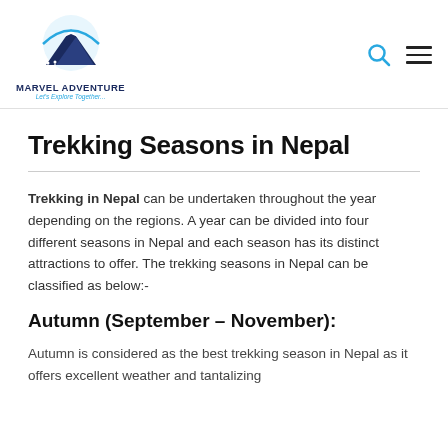Marvel Adventure — Let's Explore Together...
Trekking Seasons in Nepal
Trekking in Nepal can be undertaken throughout the year depending on the regions. A year can be divided into four different seasons in Nepal and each season has its distinct attractions to offer. The trekking seasons in Nepal can be classified as below:-
Autumn (September – November):
Autumn is considered as the best trekking season in Nepal as it offers excellent weather and tantalizing